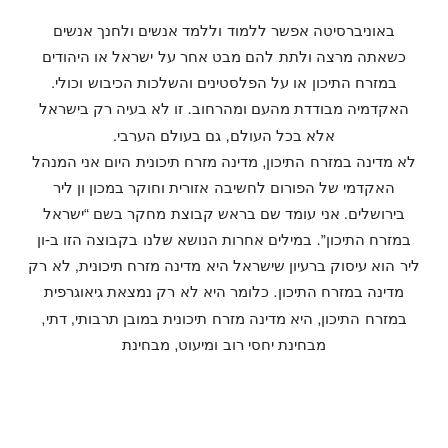באוניברסיטה אפשר ללמוד וללמד אנשים ולחנך אנשים כשאתה מרצה ולתת להם מבט אחר על ישראל או היהודים במזרח התיכון או על הפלסטינים והשלכות הכיבוש וכולי. האקדמיה מבודדת מהעם ומהרחוב. זו לא בעיה רק בישראל אלא בכל העולם, גם בעולם הערבי. לא מדינה במזרח התיכון, מדינה מזרח תיכונית היום אני המנהל האקדמי של הפורום לחשיבה אזורית וחוקר במכון ון ליר בירושלים. אני עומד שם בראש קבוצת מחקר בשם "ישראל במזרח התיכון". במילים אחרות הנושא שלנו בקבוצה הזו ב-ון ליר הוא עיסוק ברעיון שישראל היא מדינה מזרח תיכונית, לא רק מדינה במזרח התיכון. כלומר היא לא רק נמצאת גיאוגרפית במזרח התיכון, היא מדינה מזרח תיכונית במובן תרבותי, דתי, מבחינת יחסי רוב ומיעוט, מבחינת